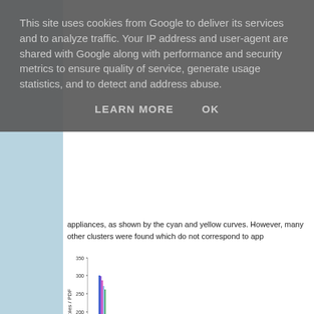appliances, as shown by the cyan and yellow curves. However, many other clusters were found which do not correspond to app
[Figure (continuous-plot): Histogram-style chart showing Number of samples / PDF on y-axis (0 to 350), x-axis unlabeled. Multiple colored vertical lines/bars densely clustered near the left, with tall spikes around 300 at the left region, decreasing toward the right. Colors include blue, purple, magenta, green, black and others.]
This site uses cookies from Google to deliver its services and to analyze traffic. Your IP address and user-agent are shared with Google along with performance and security metrics to ensure quality of service, generate usage statistics, and to detect and address abuse.
LEARN MORE    OK